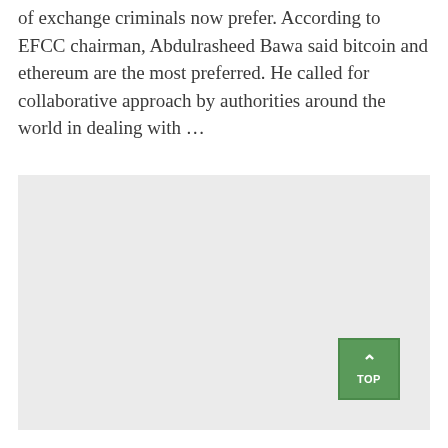of exchange criminals now prefer. According to EFCC chairman, Abdulrasheed Bawa said bitcoin and ethereum are the most preferred. He called for collaborative approach by authorities around the world in dealing with …
[Figure (other): Large light gray placeholder image block occupying the lower portion of the page, with a green 'TOP' scroll-to-top button in the bottom-right corner.]